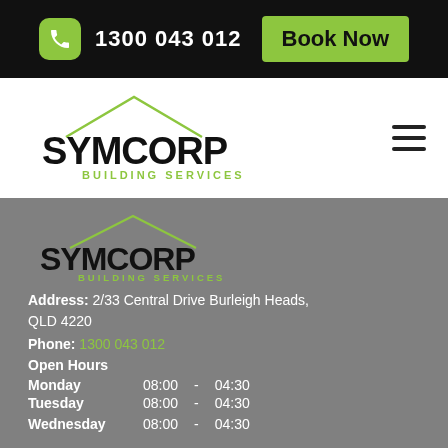1300 043 012  Book Now
[Figure (logo): Symcorp Building Services logo with roof outline graphic, white background]
[Figure (logo): Symcorp Building Services logo with roof outline graphic, gray background]
Address: 2/33 Central Drive Burleigh Heads, QLD 4220
Phone: 1300 043 012
Open Hours
Monday   08:00  -  04:30
Tuesday  08:00  -  04:30
Wednesday  08:00  -  04:30